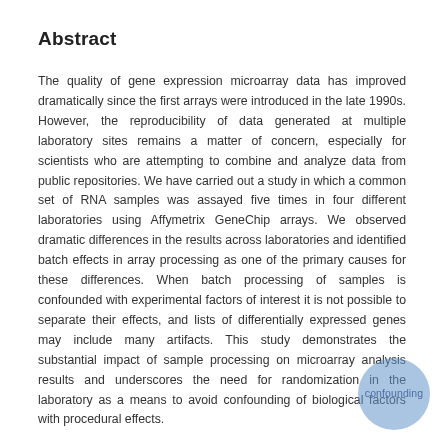Abstract
The quality of gene expression microarray data has improved dramatically since the first arrays were introduced in the late 1990s. However, the reproducibility of data generated at multiple laboratory sites remains a matter of concern, especially for scientists who are attempting to combine and analyze data from public repositories. We have carried out a study in which a common set of RNA samples was assayed five times in four different laboratories using Affymetrix GeneChip arrays. We observed dramatic differences in the results across laboratories and identified batch effects in array processing as one of the primary causes for these differences. When batch processing of samples is confounded with experimental factors of interest it is not possible to separate their effects, and lists of differentially expressed genes may include many artifacts. This study demonstrates the substantial impact of sample processing on microarray analysis results and underscores the need for randomization in the laboratory as a means to avoid confounding of biological factors with procedural effects.